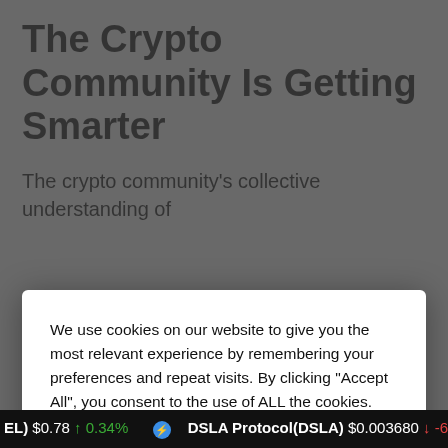The Crypto Community Is Getting Smarter
The crypto community's collective understanding of
[Figure (screenshot): Cookie consent modal dialog with 'Cookie Settings' and 'Accept All' buttons overlaying the article content]
will influence their first impression and possibly give the NFT less worth.
EL) $0.78 ↑ 0.34%   ⚡ DSLA Protocol(DSLA) $0.003680 ↓ -6.82%